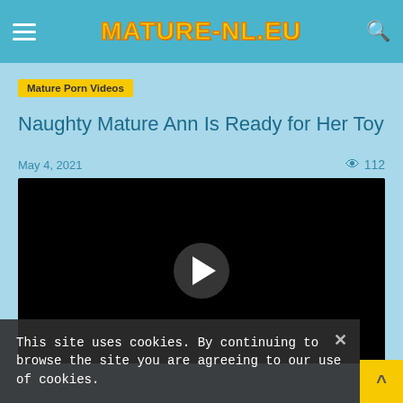MATURE-NL.EU
Mature Porn Videos
Naughty Mature Ann Is Ready for Her Toy
May 4, 2021   112
[Figure (screenshot): Black video player with a circular play button in the center]
This site uses cookies. By continuing to browse the site you are agreeing to our use of cookies.